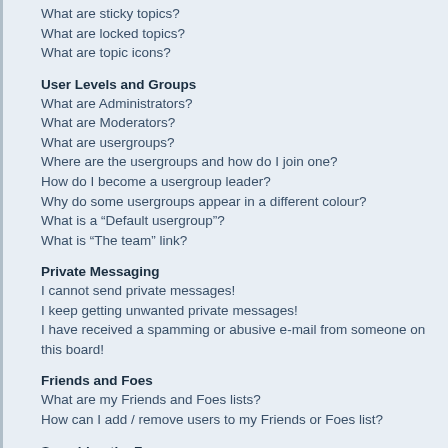What are sticky topics?
What are locked topics?
What are topic icons?
User Levels and Groups
What are Administrators?
What are Moderators?
What are usergroups?
Where are the usergroups and how do I join one?
How do I become a usergroup leader?
Why do some usergroups appear in a different colour?
What is a “Default usergroup”?
What is “The team” link?
Private Messaging
I cannot send private messages!
I keep getting unwanted private messages!
I have received a spamming or abusive e-mail from someone on this board!
Friends and Foes
What are my Friends and Foes lists?
How can I add / remove users to my Friends or Foes list?
Searching the Forums
How can I search a forum or forums?
Why does my search return no results?
Why does my search return a blank page!?
How do I search for members?
How can I find my own posts and topics?
Topic Subscriptions and Bookmarks
What is the difference between bookmarking and subscribing?
How do I subscribe to specific forums or topics?
How do I remove my subscriptions?